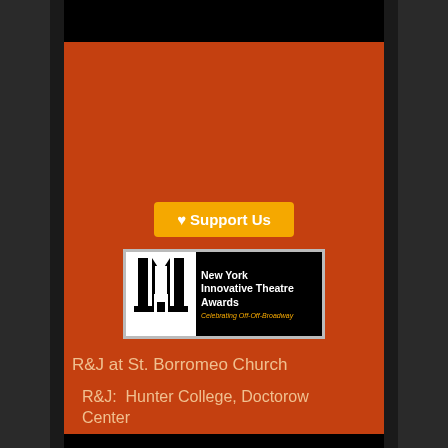[Figure (screenshot): Mobile phone screenshot showing a red/orange background app screen with a Support Us button, New York Innovative Theatre Awards logo, and navigation menu items for R&J performances]
Support Us
[Figure (logo): New York Innovative Theatre Awards logo - black background with white theatre mask/pillar icon, text reads 'New York Innovative Theatre Awards - Celebrating Off-Off-Broadway']
R&J at St. Borromeo Church
R&J:  Hunter College, Doctorow Center
R&J: Brooklyn Bridge Park